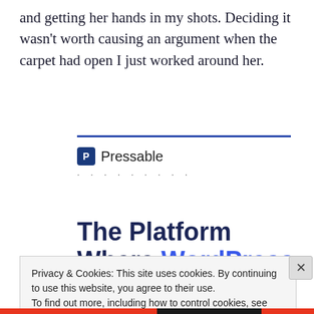and getting her hands in my shots. Deciding it wasn't worth causing an argument when the carpet had open I just worked around her.
[Figure (logo): Pressable brand logo with blue square 'P' icon and 'Pressable' text, followed by a dotted line separator, above a blue horizontal rule]
The Platform Where WordPress Works Best
Privacy & Cookies: This site uses cookies. By continuing to use this website, you agree to their use.
To find out more, including how to control cookies, see here: Cookie Policy
Close and accept